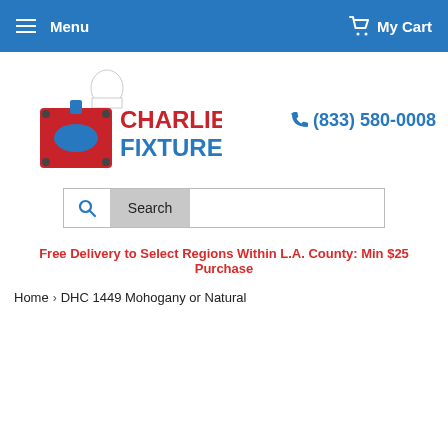Menu  My Cart
[Figure (logo): Charlie's Fixtures logo with chef hat and fixture graphic in red and blue]
(833) 580-0008
Search
Free Delivery to Select Regions Within L.A. County: Min $25 Purchase
Home › DHC 1449 Mohogany or Natural